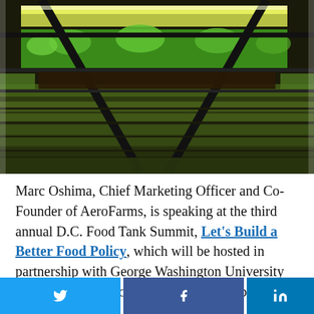[Figure (photo): Indoor vertical farm with rows of green leafy plants growing under bright LED lighting on multiple shelf tiers, viewed from a low angle looking upward and into the facility.]
Marc Oshima, Chief Marketing Officer and Co-Founder of AeroFarms, is speaking at the third annual D.C. Food Tank Summit, Let's Build a Better Food Policy, which will be hosted in partnership with George Washington University and the World Resources Institute on February 2, 2017